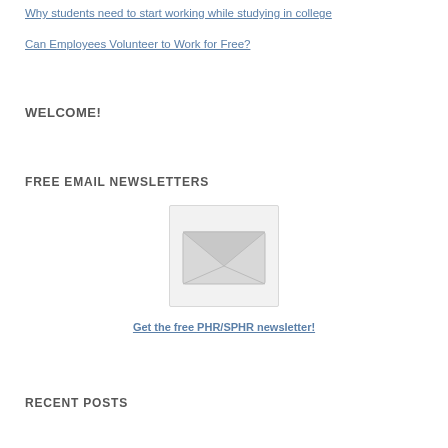Why students need to start working while studying in college
Can Employees Volunteer to Work for Free?
WELCOME!
FREE EMAIL NEWSLETTERS
[Figure (illustration): Envelope/mail icon representing a newsletter signup image]
Get the free PHR/SPHR newsletter!
RECENT POSTS